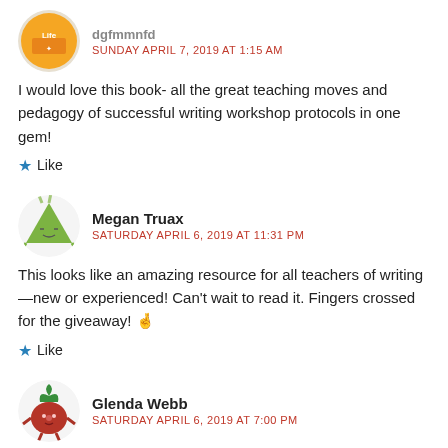I would love this book- all the great teaching moves and pedagogy of successful writing workshop protocols in one gem!
Like
Megan Truax
SATURDAY APRIL 6, 2019 AT 11:31 PM
This looks like an amazing resource for all teachers of writing—new or experienced! Can't wait to read it. Fingers crossed for the giveaway! 🤞
Like
Glenda Webb
SATURDAY APRIL 6, 2019 AT 7:00 PM